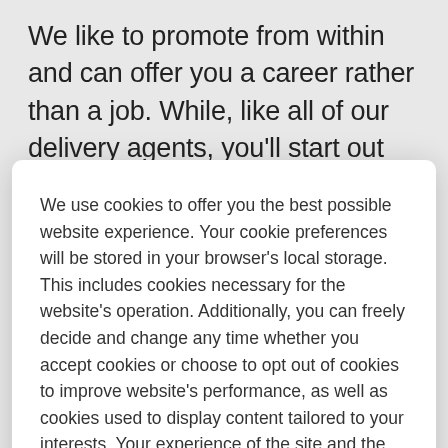We like to promote from within and can offer you a career rather than a job. While, like all of our delivery agents, you'll start out on a temporary, on-call basis, you'll have the opportunity to grow with us and obtain a permanent position – even try out new jobs in different
We use cookies to offer you the best possible website experience. Your cookie preferences will be stored in your browser's local storage. This includes cookies necessary for the website's operation. Additionally, you can freely decide and change any time whether you accept cookies or choose to opt out of cookies to improve website's performance, as well as cookies used to display content tailored to your interests. Your experience of the site and the services we are able to offer may be impacted if you do not accept all cookies.
Modify Cookie Preferences
Accept All Cookies